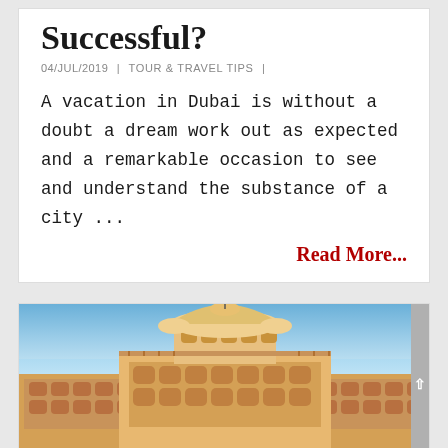Successful?
04/JUL/2019  |  TOUR & TRAVEL TIPS  |
A vacation in Dubai is without a doubt a dream work out as expected and a remarkable occasion to see and understand the substance of a city ...
Read More...
[Figure (photo): Photograph of an ornate Indian palace (likely City Palace, Jaipur) with multi-tiered architecture featuring arched colonnades, domed pavilions, and decorative elements, photographed against a blue sky with wispy clouds.]